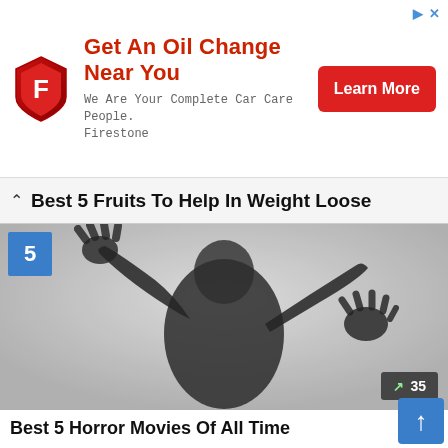[Figure (advertisement): Firestone oil change advertisement banner with red shield logo, headline 'Get An Oil Change Near You', subtext 'We Are Your Complete Car Care People. Firestone', and a red 'Learn More' button. Top-right corner has small ad indicator icons.]
Best 5 Fruits To Help In Weight Loose
[Figure (photo): Black and white horror image of a silhouetted figure pressing hands against frosted glass, with two hands raised. A blue badge with number '5' is in the top-left corner. A dark counter badge showing '35' with upward arrow is in the bottom-right corner.]
Best 5 Horror Movies Of All Time